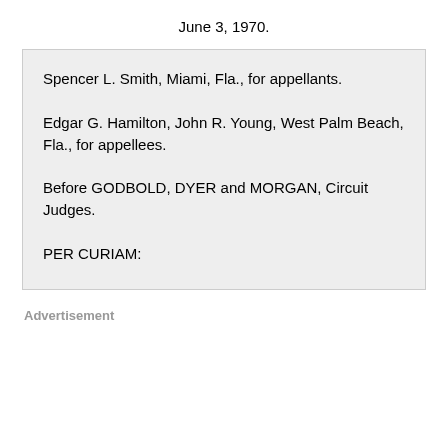June 3, 1970.
Spencer L. Smith, Miami, Fla., for appellants.
Edgar G. Hamilton, John R. Young, West Palm Beach, Fla., for appellees.
Before GODBOLD, DYER and MORGAN, Circuit Judges.
PER CURIAM:
Advertisement